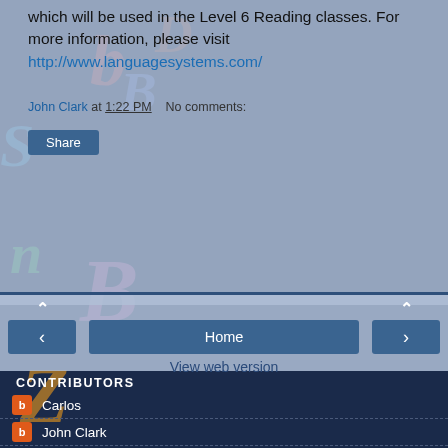which will be used in the Level 6 Reading classes. For more information, please visit http://www.languagesystems.com/
John Clark at 1:22 PM   No comments:
Share
Home
View web version
CONTRIBUTORS
Carlos
John Clark
Karla
LSI
Ligia
Michelle
Michelle